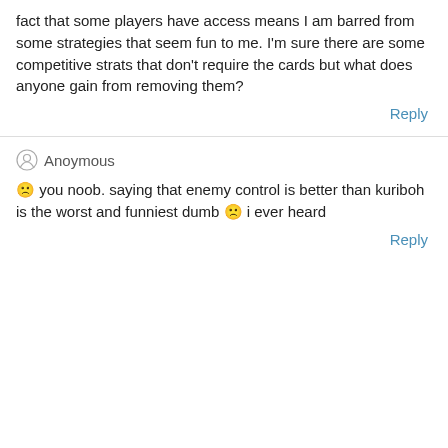fact that some players have access means I am barred from some strategies that seem fun to me. I'm sure there are some competitive strats that don't require the cards but what does anyone gain from removing them?
Reply
Anoymous
🙁 you noob. saying that enemy control is better than kuriboh is the worst and funniest dumb 🙁 i ever heard
Reply